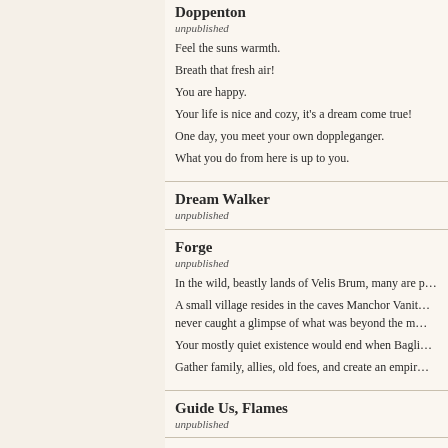Doppenton
unpublished
Feel the suns warmth.
Breath that fresh air!
You are happy.
Your life is nice and cozy, it's a dream come true!
One day, you meet your own doppleganger.
What you do from here is up to you.
Dream Walker
unpublished
Forge
unpublished
In the wild, beastly lands of Velis Brum, many are p…
A small village resides in the caves Manchor Vanit… never caught a glimpse of what was beyond the m…
Your mostly quiet existence would end when Bagli…
Gather family, allies, old foes, and create an empir…
Guide Us, Flames
unpublished
Hunter's Bounty